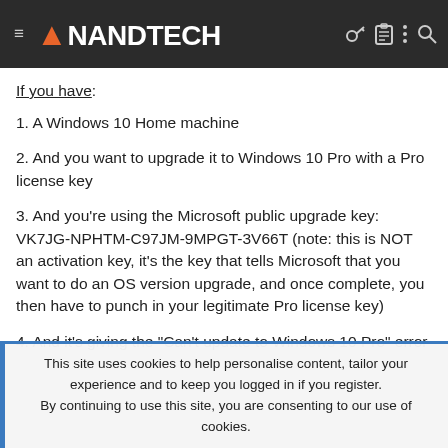AnandTech
If you have:
1. A Windows 10 Home machine
2. And you want to upgrade it to Windows 10 Pro with a Pro license key
3. And you're using the Microsoft public upgrade key: VK7JG-NPHTM-C97JM-9MPGT-3V66T (note: this is NOT an activation key, it's the key that tells Microsoft that you want to do an OS version upgrade, and once complete, you then have to punch in your legitimate Pro license key)
4. And it's giving the "Can't update to Windows 10 Pro" error message
This site uses cookies to help personalise content, tailor your experience and to keep you logged in if you register.
By continuing to use this site, you are consenting to our use of cookies.